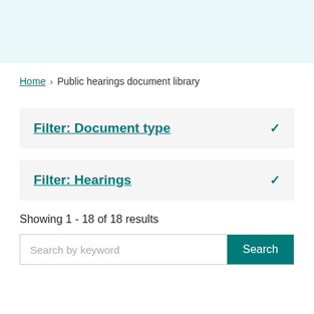Home › Public hearings document library
Filter: Document type
Filter: Hearings
Showing 1 - 18 of 18 results
Search by keyword  Search